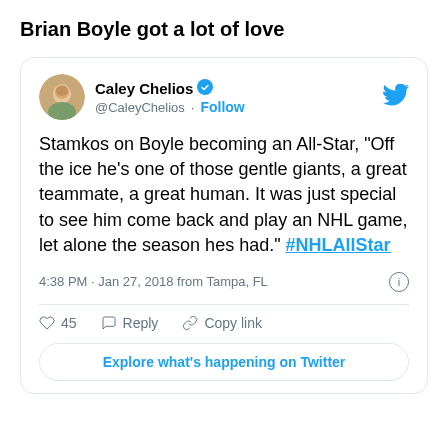Brian Boyle got a lot of love
[Figure (screenshot): Screenshot of a tweet by Caley Chelios (@CaleyChelios) with verified checkmark and Follow button. Tweet text: Stamkos on Boyle becoming an All-Star, "Off the ice he's one of those gentle giants, a great teammate, a great human. It was just special to see him come back and play an NHL game, let alone the season hes had." #NHLAllStar. Posted 4:38 PM · Jan 27, 2018 from Tampa, FL. 45 likes. Reply, Copy link actions. Explore what's happening on Twitter button.]